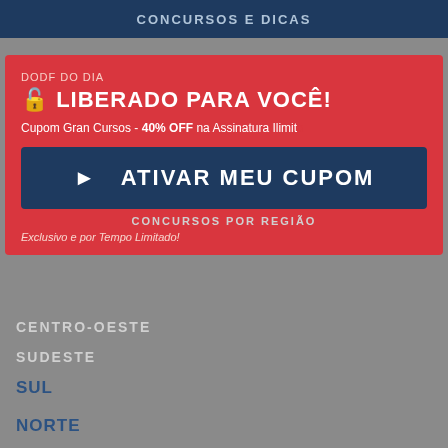CONCURSOS E DICAS
DODF DO DIA
🔓 LIBERADO PARA VOCÊ!
RANKING DOS MELHORES CURSOS ONLINE
CUPOM GRAN CURSOS
Cupom Gran Cursos - 40% OFF na Assinatura Ilimitada
CURSO PEDAGOGIA PARA CONCURSO
► ATIVAR MEU CUPOM
CONCURSOS POR REGIÃO
Exclusivo e por Tempo Limitado!
CENTRO-OESTE
SUDESTE
SUL
NORTE
NORDESTE